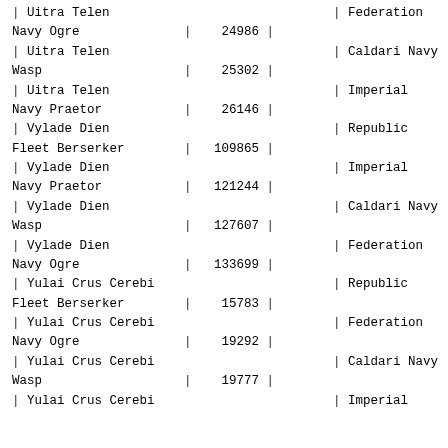| Location | Item | Value |
| --- | --- | --- |
| Uitra Telen | Federation Navy Ogre | 24986 |
| Uitra Telen | Caldari Navy Wasp | 25302 |
| Uitra Telen | Imperial Navy Praetor | 26146 |
| Vylade Dien | Republic Fleet Berserker | 109865 |
| Vylade Dien | Imperial Navy Praetor | 121244 |
| Vylade Dien | Caldari Navy Wasp | 127607 |
| Vylade Dien | Federation Navy Ogre | 133699 |
| Yulai Crus Cerebi | Republic Fleet Berserker | 15783 |
| Yulai Crus Cerebi | Federation Navy Ogre | 19292 |
| Yulai Crus Cerebi | Caldari Navy Wasp | 19777 |
| Yulai Crus Cerebi | Imperial |  |